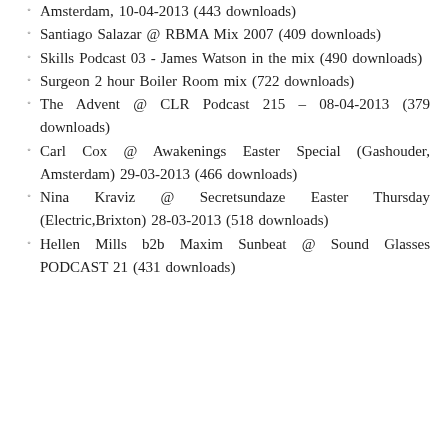Amsterdam, 10-04-2013 (443 downloads)
Santiago Salazar @ RBMA Mix 2007 (409 downloads)
Skills Podcast 03 - James Watson in the mix (490 downloads)
Surgeon 2 hour Boiler Room mix (722 downloads)
The Advent @ CLR Podcast 215 – 08-04-2013 (379 downloads)
Carl Cox @ Awakenings Easter Special (Gashouder, Amsterdam) 29-03-2013 (466 downloads)
Nina Kraviz @ Secretsundaze Easter Thursday (Electric,Brixton) 28-03-2013 (518 downloads)
Hellen Mills b2b Maxim Sunbeat @ Sound Glasses PODCAST 21 (431 downloads)